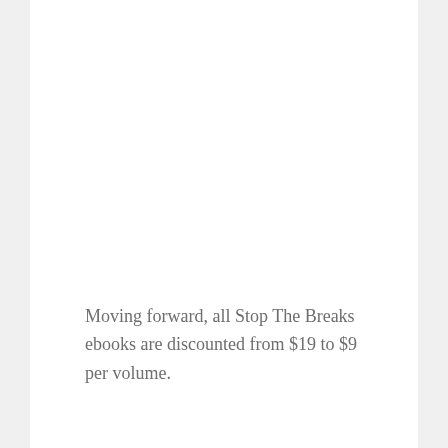Moving forward, all Stop The Breaks ebooks are discounted from $19 to $9 per volume.